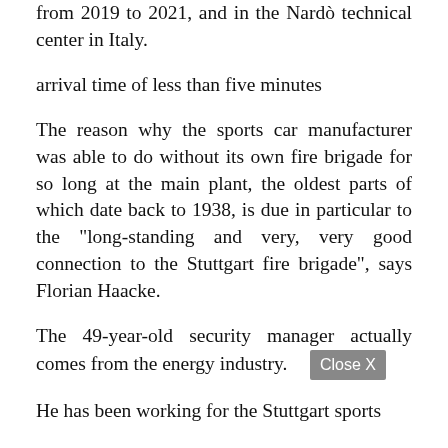from 2019 to 2021, and in the Nardò technical center in Italy.
arrival time of less than five minutes
The reason why the sports car manufacturer was able to do without its own fire brigade for so long at the main plant, the oldest parts of which date back to 1938, is due in particular to the "long-standing and very, very good connection to the Stuttgart fire brigade", says Florian Haacke.
The 49-year-old security manager actually comes from the energy industry. [Close X]
He has been working for the Stuttgart sports